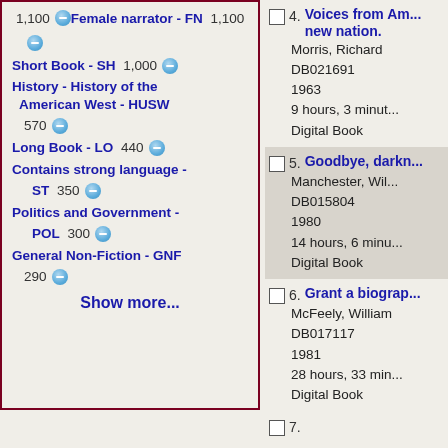Female narrator - FN 1,100
Short Book - SH 1,000
History - History of the American West - HUSW 570
Long Book - LO 440
Contains strong language - ST 350
Politics and Government - POL 300
General Non-Fiction - GNF 290
Show more...
4. Voices from Am... new nation. Morris, Richard DB021691 1963 9 hours, 3 minut... Digital Book
5. Goodbye, darkn... Manchester, Wil... DB015804 1980 14 hours, 6 minu... Digital Book
6. Grant a biograp... McFeely, William DB017117 1981 28 hours, 33 min... Digital Book